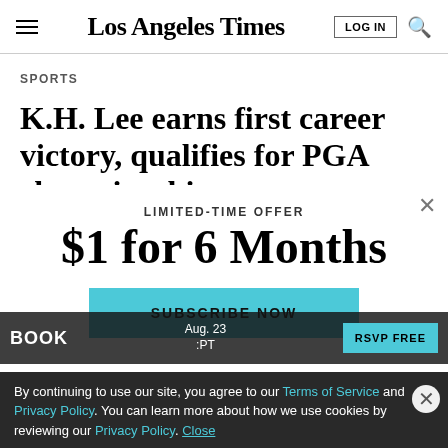Los Angeles Times
SPORTS
K.H. Lee earns first career victory, qualifies for PGA championship
LIMITED-TIME OFFER
$1 for 6 Months
SUBSCRIBE NOW
By continuing to use our site, you agree to our Terms of Service and Privacy Policy. You can learn more about how we use cookies by reviewing our Privacy Policy. Close